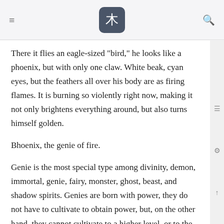Header with logo and navigation icons
There it flies an eagle-sized “bird,” he looks like a phoenix, but with only one claw. White beak, cyan eyes, but the feathers all over his body are as firing flames. It is burning so violently right now, making it not only brightens everything around, but also turns himself golden.
Bhoenix, the genie of fire.
Genie is the most special type among divinity, demon, immortal, genie, fairy, monster, ghost, beast, and shadow spirits. Genies are born with power, they do not have to cultivate to obtain power, but, on the other hand, they cannot cultivate to a higher level, or to the fruition. Genies usually live in a place called “Kunlun¹⁶,” and since their power is second only to divinity, demon, and immortal, only these are able to sum